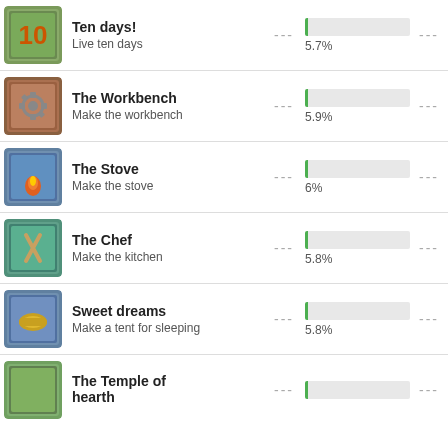Ten days! — Live ten days — 5.7%
The Workbench — Make the workbench — 5.9%
The Stove — Make the stove — 6%
The Chef — Make the kitchen — 5.8%
Sweet dreams — Make a tent for sleeping — 5.8%
The Temple of hearth